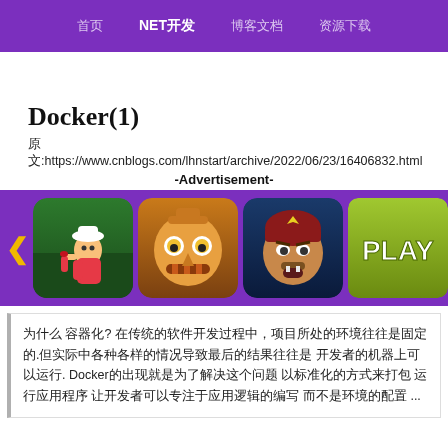首页  NET开发  博客文档  资源下载
Docker(1)
原文:https://www.cnblogs.com/lhnstart/archive/2022/06/23/16406832.html
-Advertisement-
[Figure (other): Advertisement banner with game thumbnails (Subway Surfers, Temple Run, Clash of Clans, Play button, Minecraft) on purple background]
为什么 容器化? 在传统的软件开发过程中，项目所处的环境往往是固定的.但实际中各种各样的情况导致最后的结果往往是 开发者的机器上可以运行. Docker的出现就是为了解决这个问题 以标准化的方式来打包 运行应用程序 让开发者可以专注于应用逻辑的编写 而不是环境的配置 ...